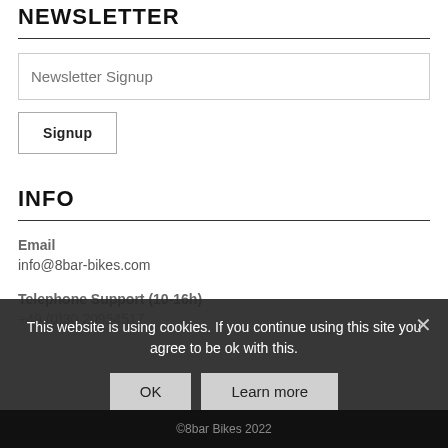NEWSLETTER
Newsletter Signup
Signup
INFO
Email
info@8bar-bikes.com
Telephone Support (10-16h)
+49 (0)30 20954517
This website is using cookies. If you continue using this site you agree to be ok with this.
OK
Learn more
©8bar Bikes 2022